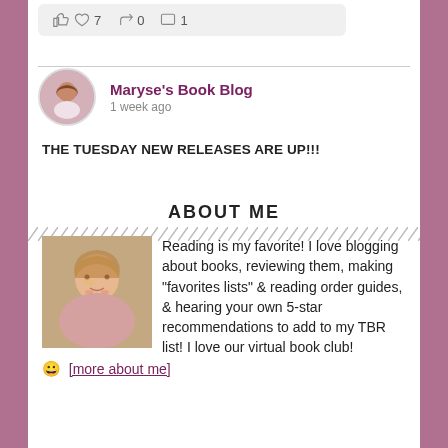[Figure (other): Social media reaction bar showing thumbs up and heart icons with count 7, share icon with count 0, and comment icon with count 1]
[Figure (photo): Profile photo of Maryse's Book Blog - woman with curly brown hair]
Maryse's Book Blog
1 week ago
THE TUESDAY NEW RELEASES ARE UP!!!
ABOUT ME
[Figure (photo): Photo of a smiling woman with blonde hair, the blog author]
Reading is my favorite! I love blogging about books, reviewing them, making "favorites lists" & reading order guides, & hearing your own 5-star recommendations to add to my TBR list! I love our virtual book club! 😀  [more about me]